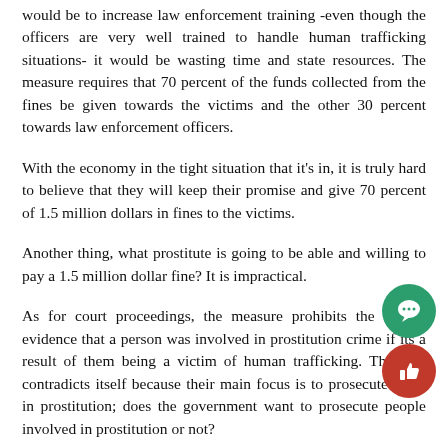would be to increase law enforcement training -even though the officers are very well trained to handle human trafficking situations- it would be wasting time and state resources. The measure requires that 70 percent of the funds collected from the fines be given towards the victims and the other 30 percent towards law enforcement officers.
With the economy in the tight situation that it's in, it is truly hard to believe that they will keep their promise and give 70 percent of 1.5 million dollars in fines to the victims.
Another thing, what prostitute is going to be able and willing to pay a 1.5 million dollar fine? It is impractical.
As for court proceedings, the measure prohibits the use of evidence that a person was involved in prostitution crime if it was a result of them being a victim of human trafficking. This law contradicts itself because their main focus is to prosecute those in prostitution; does the government want to prosecute people involved in prostitution or not?